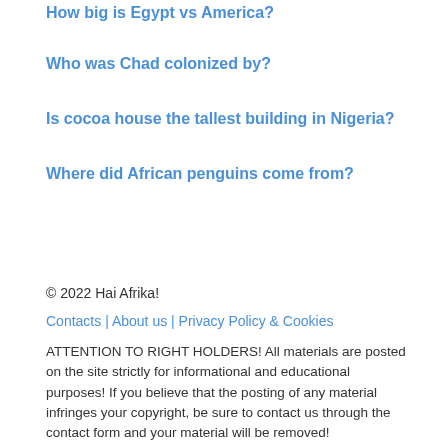How big is Egypt vs America?
Who was Chad colonized by?
Is cocoa house the tallest building in Nigeria?
Where did African penguins come from?
© 2022 Hai Afrika!
Contacts | About us | Privacy Policy & Cookies
ATTENTION TO RIGHT HOLDERS! All materials are posted on the site strictly for informational and educational purposes! If you believe that the posting of any material infringes your copyright, be sure to contact us through the contact form and your material will be removed!